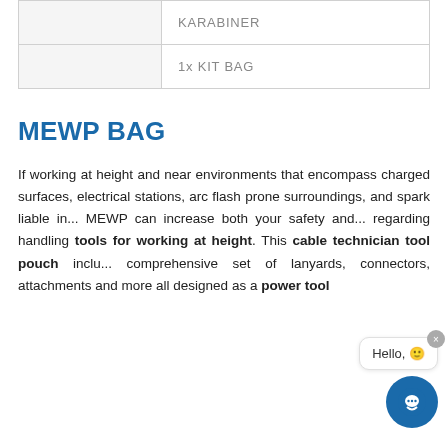|  | KARABINER |
|  | 1x KIT BAG |
MEWP BAG
If working at height and near environments that encompass charged surfaces, electrical stations, arc flash prone surroundings, and spark liable in... MEWP can increase both your safety and... regarding handling tools for working at height. This cable technician tool pouch inclu... comprehensive set of lanyards, connectors, attachments and more all designed as a power tool